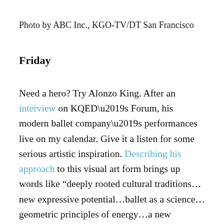Photo by ABC Inc., KGO-TV/DT San Francisco
Friday
Need a hero? Try Alonzo King. After an interview on KQED’s Forum, his modern ballet company’s performances live on my calendar. Give it a listen for some serious artistic inspiration. Describing his approach to this visual art form brings up words like “deeply rooted cultural traditions…new expressive potential…ballet as a science…geometric principles of energy…a new language of movement…a profound sense of shared humanity.” To say my